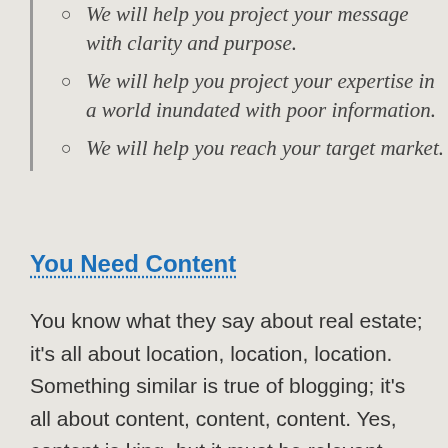We will help you project your message with clarity and purpose.
We will help you project your expertise in a world inundated with poor information.
We will help you reach your target market.
You Need Content
You know what they say about real estate; it’s all about location, location, location. Something similar is true of blogging; it’s all about content, content, content. Yes, content is king, but it must be relevant, timely, and well written. Any blog will suffer from a lack of well-written content; however, the effect on marketing related blogs is most problematic, since they rely so heavily on traffic generation to be